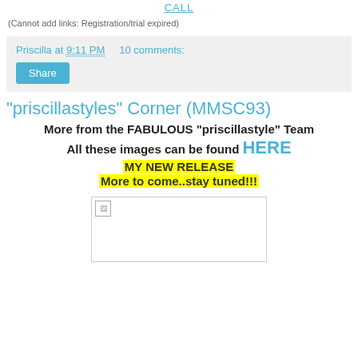CALL
(Cannot add links: Registration/trial expired)
Priscilla at 9:11 PM    10 comments:
Share
"priscillastyles" Corner (MMSC93)
More from the FABULOUS "priscillastyle" Team
All these images can be found HERE
MY NEW RELEASE
More to come..stay tuned!!!
[Figure (photo): Broken image placeholder inside a bordered box]